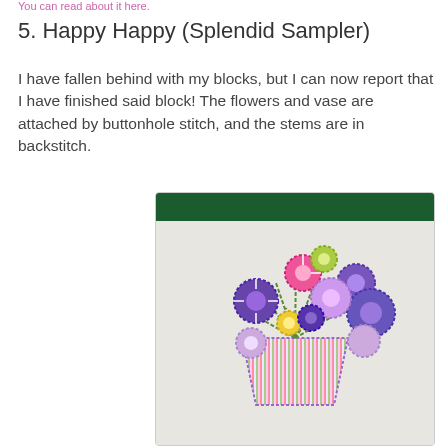You can read about it here.
5. Happy Happy (Splendid Sampler)
I have fallen behind with my blocks, but I can now report that I have finished said block!  The flowers and vase are attached by buttonhole stitch, and the stems are in backstitch.
[Figure (photo): Embroidery / applique block showing a striped vase with colorful circular flower heads in purple, pink, lavender, and yellow attached by buttonhole stitch, stems in backstitch, on white fabric with a dark green border at top.]